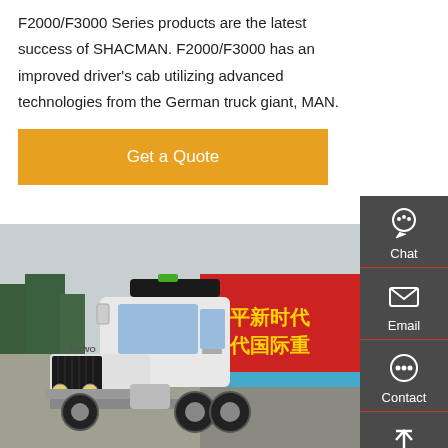F2000/F3000 Series products are the latest success of SHACMAN. F2000/F3000 has an improved driver's cab utilizing advanced technologies from the German truck giant, MAN.
[Figure (other): Orange 'Get a Quote' button]
[Figure (photo): Photo of a white HOWO heavy-duty truck (tractor unit) parked in a lot, with trees and a red banner with Chinese text in the background.]
[Figure (other): Dark gray sidebar with Chat, Email, Contact, and Top navigation icons]